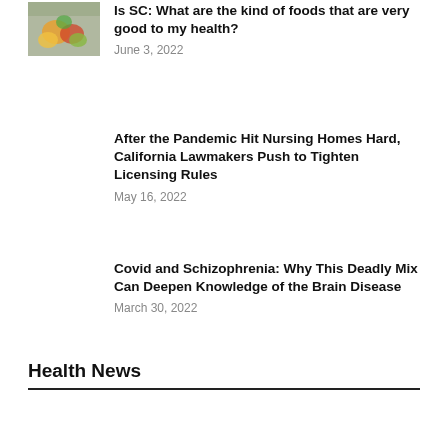[Figure (photo): Thumbnail image of colorful vegetables/fruits]
Is SC: What are the kind of foods that are very good to my health?
June 3, 2022
After the Pandemic Hit Nursing Homes Hard, California Lawmakers Push to Tighten Licensing Rules
May 16, 2022
Covid and Schizophrenia: Why This Deadly Mix Can Deepen Knowledge of the Brain Disease
March 30, 2022
Health News